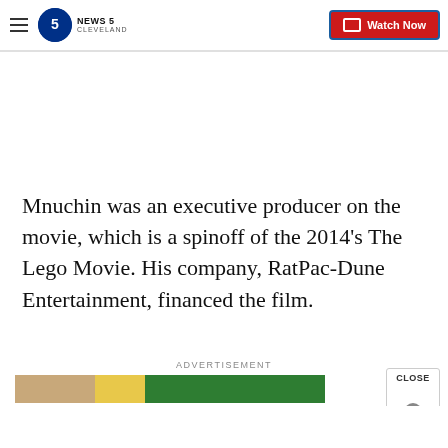NEWS 5 CLEVELAND | Watch Now
Mnuchin was an executive producer on the movie, which is a spinoff of the 2014's The Lego Movie. His company, RatPac-Dune Entertainment, financed the film.
ADVERTISEMENT
[Figure (screenshot): Advertisement banner with tan, yellow, and green sections, with a CLOSE button on the right]